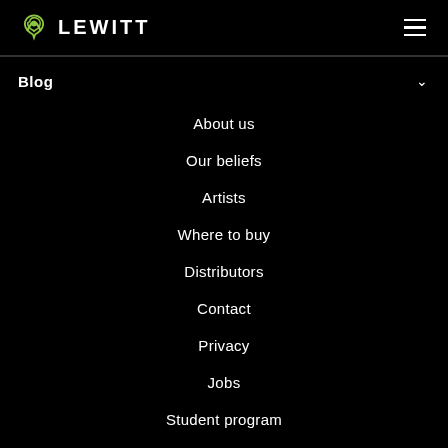[Figure (logo): Lewitt logo with green spiral icon and white LEWITT text]
Blog
About us
Our beliefs
Artists
Where to buy
Distributors
Contact
Privacy
Jobs
Student program
Support
Contact